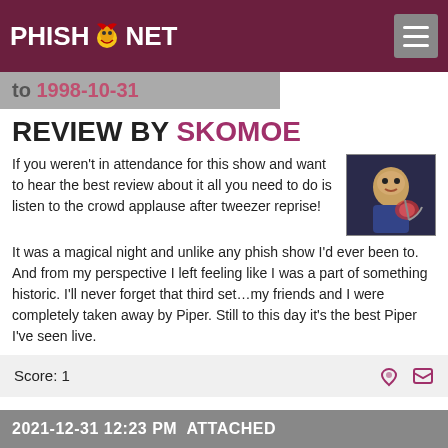PHISH.NET
to 1998-10-31
REVIEW BY SKOMOE
If you weren't in attendance for this show and want to hear the best review about it all you need to do is listen to the crowd applause after tweezer reprise!
[Figure (photo): Avatar image of a cartoon character holding a martini glass]
It was a magical night and unlike any phish show I'd ever been to. And from my perspective I left feeling like I was a part of something historic. I'll never forget that third set…my friends and I were completely taken away by Piper. Still to this day it's the best Piper I've seen live.
Score: 1
2021-12-31 12:23 PM  ATTACHED